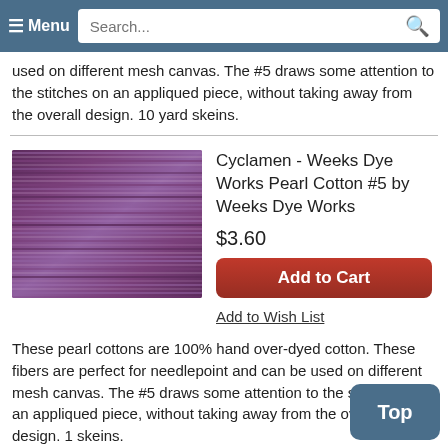≡ Menu  Search...
used on different mesh canvas. The #5 draws some attention to the stitches on an appliqued piece, without taking away from the overall design. 10 yard skeins.
Cyclamen - Weeks Dye Works Pearl Cotton #5 by Weeks Dye Works
$3.60
Add to Cart
Add to Wish List
[Figure (photo): Skein of purple/violet hand-dyed pearl cotton thread]
These pearl cottons are 100% hand over-dyed cotton. These fibers are perfect for needlepoint and can be used on different mesh canvas. The #5 draws some attention to the stitches on an appliqued piece, without taking away from the overall design. 1 skeins.